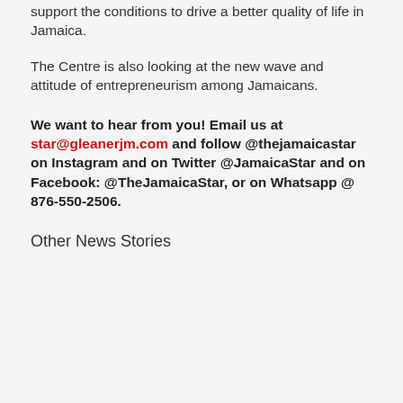support the conditions to drive a better quality of life in Jamaica.
The Centre is also looking at the new wave and attitude of entrepreneurism among Jamaicans.
We want to hear from you! Email us at star@gleanerjm.com and follow @thejamaicastar on Instagram and on Twitter @JamaicaStar and on Facebook: @TheJamaicaStar, or on Whatsapp @ 876-550-2506.
Other News Stories